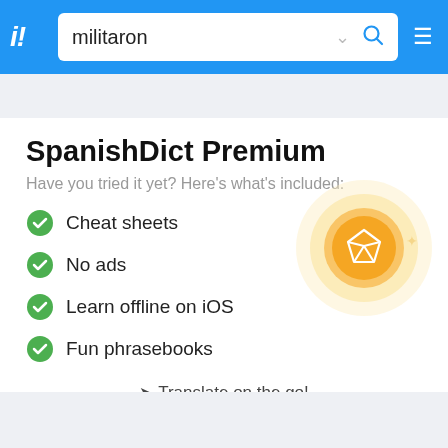i! militaron
SpanishDict Premium
Have you tried it yet? Here's what's included:
Cheat sheets
No ads
Learn offline on iOS
Fun phrasebooks
[Figure (illustration): Premium badge/diamond icon with orange glowing circles]
✈ Translate on the go!